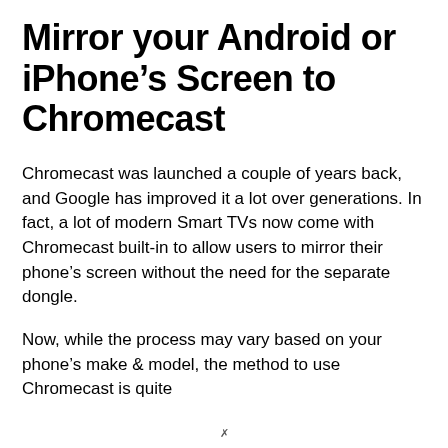Mirror your Android or iPhone's Screen to Chromecast
Chromecast was launched a couple of years back, and Google has improved it a lot over generations. In fact, a lot of modern Smart TVs now come with Chromecast built-in to allow users to mirror their phone's screen without the need for the separate dongle.
Now, while the process may vary based on your phone's make & model, the method to use Chromecast is quite